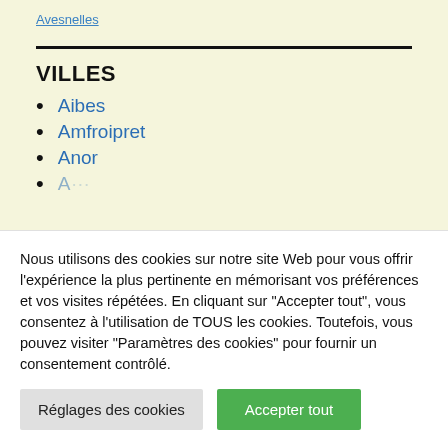[link text — partially visible at top]
VILLES
Aibes
Amfroipret
Anor
Nous utilisons des cookies sur notre site Web pour vous offrir l'expérience la plus pertinente en mémorisant vos préférences et vos visites répétées. En cliquant sur "Accepter tout", vous consentez à l'utilisation de TOUS les cookies. Toutefois, vous pouvez visiter "Paramètres des cookies" pour fournir un consentement contrôlé.
Réglages des cookies | Accepter tout